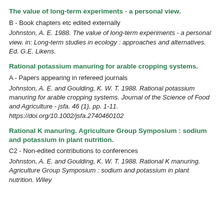The value of long-term experiments - a personal view.
B - Book chapters etc edited externally
Johnston, A. E. 1988. The value of long-term experiments - a personal view. in: Long-term studies in ecology : approaches and alternatives. Ed. G.E. Likens.
Rational potassium manuring for arable cropping systems.
A - Papers appearing in refereed journals
Johnston, A. E. and Goulding, K. W. T. 1988. Rational potassium manuring for arable cropping systems. Journal of the Science of Food and Agriculture - jsfa. 46 (1), pp. 1-11. https://doi.org/10.1002/jsfa.2740460102
Rational K manuring. Agriculture Group Symposium : sodium and potassium in plant nutrition.
C2 - Non-edited contributions to conferences
Johnston, A. E. and Goulding, K. W. T. 1988. Rational K manuring. Agriculture Group Symposium : sodium and potassium in plant nutrition. Wiley